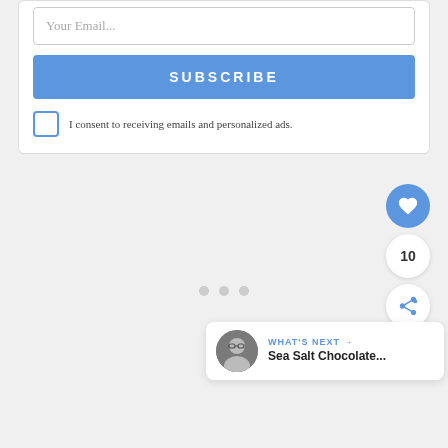Your Email...
SUBSCRIBE
I consent to receiving emails and personalized ads.
[Figure (screenshot): Gray content area with three pagination dots, like button (heart icon, blue circle), like count (10), share button, and a 'What's Next' card showing 'Sea Salt Chocolate...' with avatar]
WHAT'S NEXT → Sea Salt Chocolate...